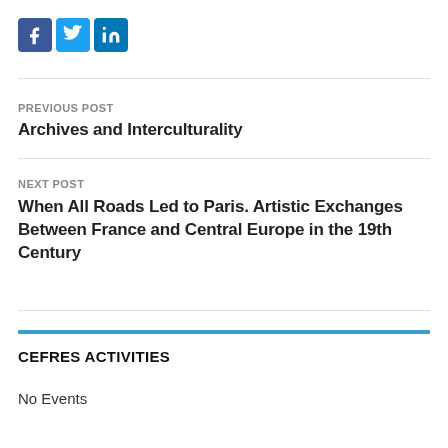[Figure (logo): Social media icons: Facebook (blue square with f), Twitter (light blue square with bird), LinkedIn (blue square with in)]
PREVIOUS POST
Archives and Interculturality
NEXT POST
When All Roads Led to Paris. Artistic Exchanges Between France and Central Europe in the 19th Century
CEFRES ACTIVITIES
No Events